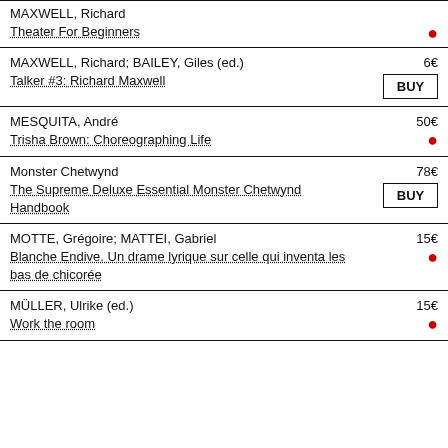| Author / Title | Price / Availability |
| --- | --- |
| MAXWELL, Richard
Theater For Beginners | 15€ ● |
| MAXWELL, Richard; BAILEY, Giles (ed.)
Talker #3: Richard Maxwell | 6€
BUY |
| MESQUITA, André
Trisha Brown: Choreographing Life | 50€ ● |
| Monster Chetwynd
The Supreme Deluxe Essential Monster Chetwynd Handbook | 78€
BUY |
| MOTTE, Grégoire; MATTEI, Gabriel
Blanche Endive. Un drame lyrique sur celle qui inventa les bas de chicorée | 15€ ● |
| MÜLLER, Ulrike (ed.)
Work the room | 15€ ● |